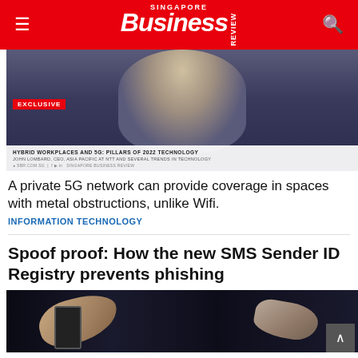SINGAPORE BUSINESS REVIEW
[Figure (photo): Video thumbnail showing a man in a suit speaking, with EXCLUSIVE badge and overlay text: HYBRID WORKPLACES AND 5G: PILLARS OF 2022 TECHNOLOGY. JOHN LOMBARD, CEO, ASIA PACIFIC AT NTT AND SEVERAL TRENDS IN TECHNOLOGY. sbr.com.sg | Singapore Business Review]
A private 5G network can provide coverage in spaces with metal obstructions, unlike Wifi.
INFORMATION TECHNOLOGY
Spoof proof: How the new SMS Sender ID Registry prevents phishing
[Figure (photo): Dark photo showing hands holding smartphones]